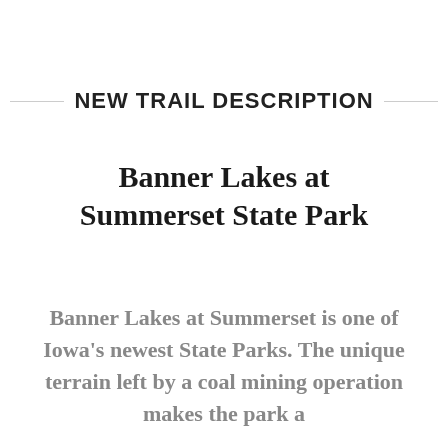NEW TRAIL DESCRIPTION
Banner Lakes at Summerset State Park
Banner Lakes at Summerset is one of Iowa's newest State Parks. The unique terrain left by a coal mining operation makes the park a